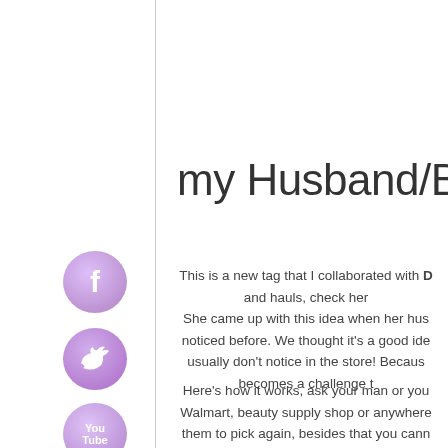[Figure (illustration): Purple watercolor Facebook icon circle]
[Figure (illustration): Purple watercolor Twitter icon circle]
[Figure (illustration): Purple watercolor YouTube icon circle]
[Figure (illustration): Purple watercolor Pinterest icon circle]
[Figure (illustration): Purple watercolor Instagram icon circle]
[Figure (illustration): Purple watercolor Google+ icon circle]
my Husband/Boyf...
This is a new tag that I collaborated with D... and hauls, check her... She came up with this idea when her hus... noticed before. We thought it's a good ide... usually don't notice in the store! Becaus... becomes a challenge t...
Here's how it works, ask your man or you... Walmart, beauty supply shop or anywhere... them to pick again, besides that you canno... look out of it once...